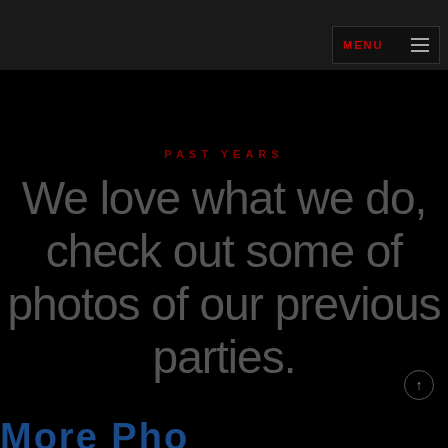[Figure (screenshot): Dark themed website header with red accent bar and menu button showing 'MENU' text with hamburger icon lines]
PAST YEARS
We love what we do, check out some of photos of our previous parties.
More Photos (partially visible at bottom)